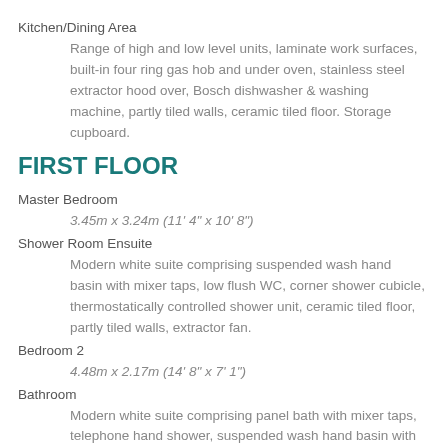Kitchen/Dining Area
Range of high and low level units, laminate work surfaces, built-in four ring gas hob and under oven, stainless steel extractor hood over, Bosch dishwasher & washing machine, partly tiled walls, ceramic tiled floor. Storage cupboard.
FIRST FLOOR
Master Bedroom
3.45m x 3.24m (11' 4" x 10' 8")
Shower Room Ensuite
Modern white suite comprising suspended wash hand basin with mixer taps, low flush WC, corner shower cubicle, thermostatically controlled shower unit, ceramic tiled floor, partly tiled walls, extractor fan.
Bedroom 2
4.48m x 2.17m (14' 8" x 7' 1")
Bathroom
Modern white suite comprising panel bath with mixer taps, telephone hand shower, suspended wash hand basin with mixer taps, low flush WC, corner shower cubicle